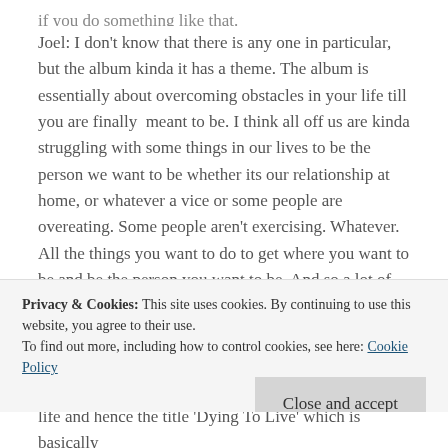Joel: I don't know that there is any one in particular, but the album kinda it has a theme. The album is essentially about overcoming obstacles in your life till you are finally meant to be. I think all off us are kinda struggling with some things in our lives to be the person we want to be whether its our relationship at home, or whatever a vice or some people are overeating. Some people aren't exercising. Whatever. All the things you want to do to get where you want to be and be the person you want to be. And so a lot of
Privacy & Cookies: This site uses cookies. By continuing to use this website, you agree to their use. To find out more, including how to control cookies, see here: Cookie Policy
life and hence the title 'Dying To Live' which is basically